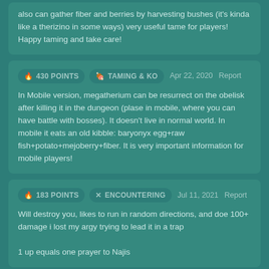also can gather fiber and berries by harvesting bushes (it's kinda like a therizino in some ways) very useful tame for players! Happy taming and take care!
430 POINTS | TAMING & KO — Apr 22, 2020  Report
In Mobile version, megatherium can be resurrect on the obelisk after killing it in the dungeon (plase in mobile, where you can have battle with bosses). It doesn't live in normal world. In mobile it eats an old kibble: baryonyx egg+raw fish+potato+mejoberry+fiber. It is very important information for mobile players!
183 POINTS | ENCOUNTERING — Jul 11, 2021  Report
Will destroy you, likes to run in random directions, and doe 100+ damage i lost my argy trying to lead it in a trap

1 up equals one prayer to Najis
272 POINTS | ENCOUNTERING — Nov 4, 2020  Report